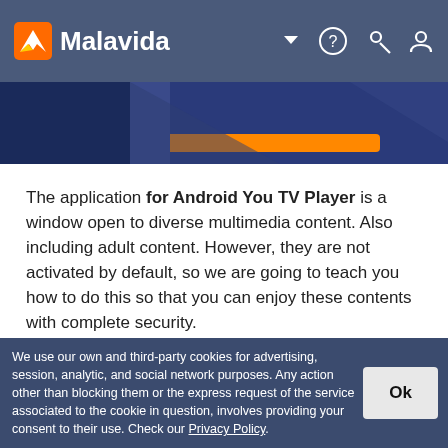Malavida
[Figure (screenshot): Partial screenshot of a blue banner/advertisement with an orange button at the top]
The application for Android You TV Player is a window open to diverse multimedia content. Also including adult content. However, they are not activated by default, so we are going to teach you how to do this so that you can enjoy these contents with complete security.
First, we open the application and tap on the 3 points that we will find at the top right.
[Figure (screenshot): Advertisement banner with green background showing 'TOP Android' text in dark blue]
We use our own and third-party cookies for advertising, session, analytic, and social network purposes. Any action other than blocking them or the express request of the service associated to the cookie in question, involves providing your consent to their use. Check our Privacy Policy.